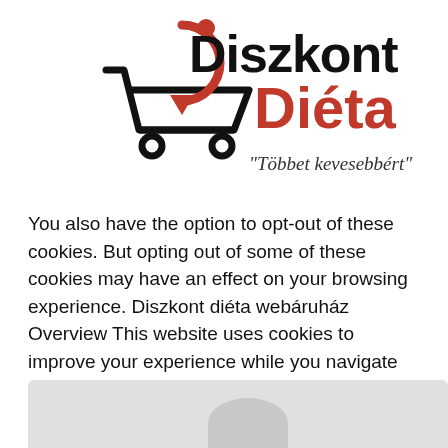[Figure (logo): Diszkont Diéta logo: shopping cart with a circular arrow and orange dot forming the letter D, bold black text 'Diszkont' and orange bold text 'Diéta', with tagline 'Többet kevesebbért' in serif italic font]
You also have the option to opt-out of these cookies. But opting out of some of these cookies may have an effect on your browsing experience. Diszkont diéta webáruház Overview This website uses cookies to improve your experience while you navigate through the website.
[Figure (screenshot): Partial grey/white screenshot or image, partially visible at bottom of page]